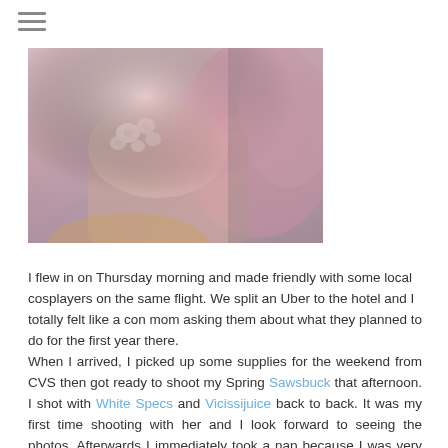[Figure (photo): Close-up photo of a cosplay costume featuring a pink and white floral decorated garment, with pink fabric/wings visible in the background]
I flew in on Thursday morning and made friendly with some local cosplayers on the same flight. We split an Uber to the hotel and I totally felt like a con mom asking them about what they planned to do for the first year there.
When I arrived, I picked up some supplies for the weekend from CVS then got ready to shoot my Spring Sawsbuck that afternoon. I shot with White Specs and Vicissijuice back to back. It was my first time shooting with her and I look forward to seeing the photos. Afterwards I immediately took a nap because I was very tired. After sleeping for 2 hours, I got up and worked on finishing up Lilith while watching the Olympics. Figure skating woot woot!